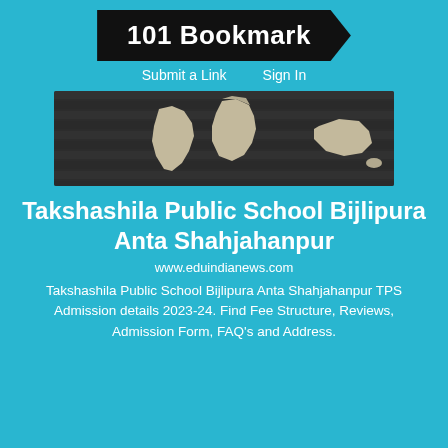101 Bookmark
Submit a Link    Sign In
[Figure (photo): World map image on dark slatted background showing continents in light beige/cream color]
Takshashila Public School Bijlipura Anta Shahjahanpur
www.eduindianews.com
Takshashila Public School Bijlipura Anta Shahjahanpur TPS Admission details 2023-24. Find Fee Structure, Reviews, Admission Form, FAQ's and Address.